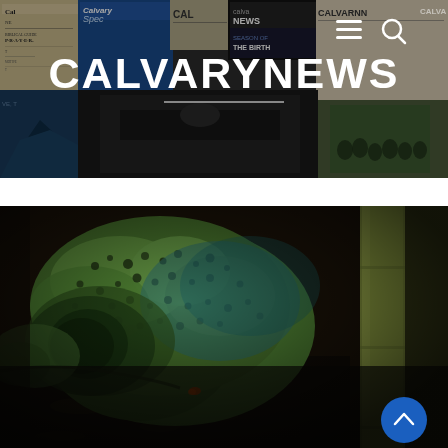[Figure (photo): CALVARYNEWS website header banner with collage of old newspaper covers, magazine issues, and group photo. White CALVARYNEWS title text centered, hamburger menu icon and search icon top right.]
[Figure (photo): Close-up macro photograph of a chameleon's head and upper body, bright green textured skin with dark speckles, dark background with a bamboo stalk on the right side. Blue circular back-to-top button in bottom right corner.]